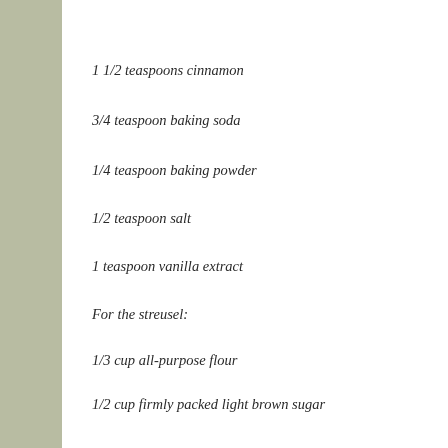1 1/2 teaspoons cinnamon
3/4 teaspoon baking soda
1/4 teaspoon baking powder
1/2 teaspoon salt
1 teaspoon vanilla extract
For the streusel:
1/3 cup all-purpose flour
1/2 cup firmly packed light brown sugar
1 teaspoon ground cinnamon
5 tablespoons cold, unsalted butter, cut into small chunks